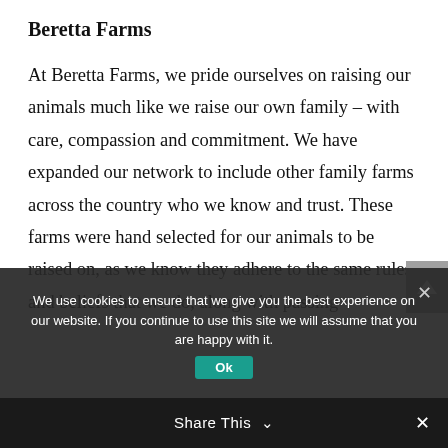Beretta Farms
At Beretta Farms, we pride ourselves on raising our animals much like we raise our own family – with care, compassion and commitment. We have expanded our network to include other family farms across the country who we know and trust. These farms were hand selected for our animals to be raised on, as we know they adhere to the same rules and beliefs that we do, along with passing
We use cookies to ensure that we give you the best experience on our website. If you continue to use this site we will assume that you are happy with it.
Share This